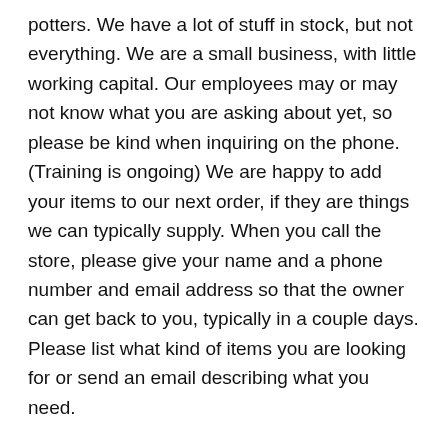potters. We have a lot of stuff in stock, but not everything. We are a small business, with little working capital. Our employees may or may not know what you are asking about yet, so please be kind when inquiring on the phone. (Training is ongoing) We are happy to add your items to our next order, if they are things we can typically supply. When you call the store, please give your name and a phone number and email address so that the owner can get back to you, typically in a couple days. Please list what kind of items you are looking for or send an email describing what you need.
3. Do you have raw materials for making glazes? Ans: Yes, we have commonly requested raw materials for making glazes, particularly for cone 5-6. We prefer that you contact us by email to list what you need by